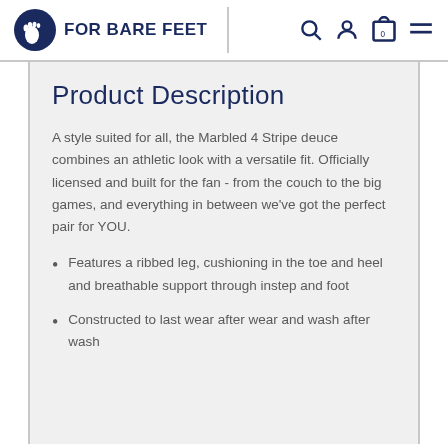FOR BARE FEET
Product Description
A style suited for all, the Marbled 4 Stripe deuce combines an athletic look with a versatile fit. Officially licensed and built for the fan - from the couch to the big games, and everything in between we've got the perfect pair for YOU.
Features a ribbed leg, cushioning in the toe and heel and breathable support through instep and foot
Constructed to last wear after wear and wash after wash